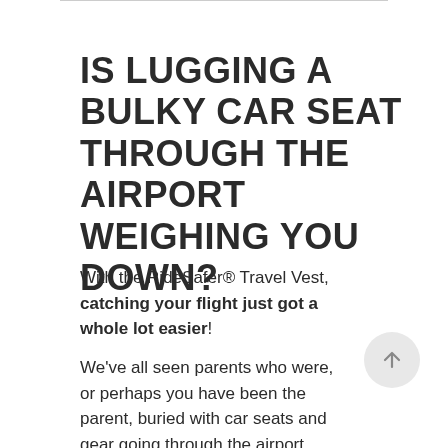IS LUGGING A BULKY CAR SEAT THROUGH THE AIRPORT WEIGHING YOU DOWN?
With the RideSafer® Travel Vest, catching your flight just got a whole lot easier!
We've all seen parents who were, or perhaps you have been the parent, buried with car seats and gear going through the airport. With RideSafer you won't need to haul that heavy car seat